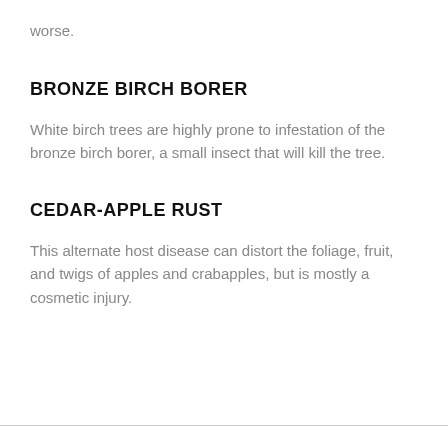worse.
BRONZE BIRCH BORER
White birch trees are highly prone to infestation of the bronze birch borer, a small insect that will kill the tree.
CEDAR-APPLE RUST
This alternate host disease can distort the foliage, fruit, and twigs of apples and crabapples, but is mostly a cosmetic injury.